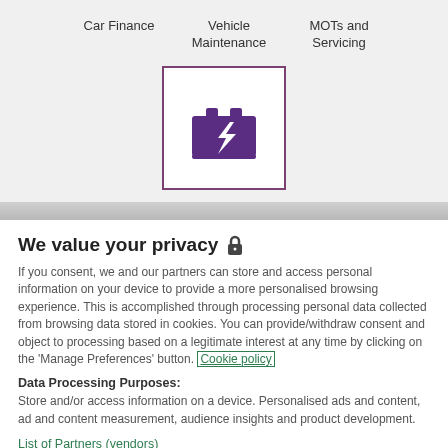Car Finance    Vehicle Maintenance    MOTs and Servicing
[Figure (illustration): Car battery icon in purple, displayed inside a white box with a purple border]
We value your privacy 🔒
If you consent, we and our partners can store and access personal information on your device to provide a more personalised browsing experience. This is accomplished through processing personal data collected from browsing data stored in cookies. You can provide/withdraw consent and object to processing based on a legitimate interest at any time by clicking on the 'Manage Preferences' button. Cookie policy
Data Processing Purposes:
Store and/or access information on a device. Personalised ads and content, ad and content measurement, audience insights and product development.
List of Partners (vendors)